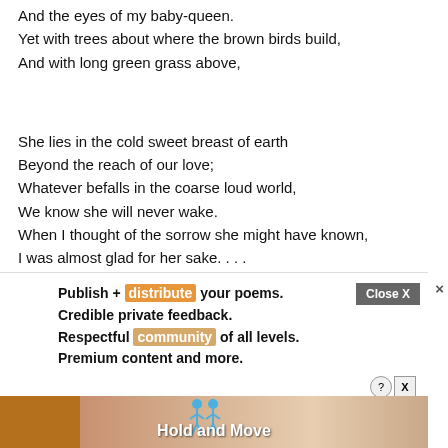And the eyes of my baby-queen.
Yet with trees about where the brown birds build,
And with long green grass above,
She lies in the cold sweet breast of earth
Beyond the reach of our love;
Whatever befalls in the coarse loud world,
We know she will never wake.
When I thought of the sorrow she might have known,
I was almost glad for her sake. . . .
Tears might have tired those kiss-closed eyes,
Grief hardened the mouth I kissed;
[Figure (screenshot): Advertisement overlay with text: Publish + distribute your poems. Credible private feedback. Respectful community of all levels. Premium content and more. With a Close X button and a Hold and Move banner ad at the bottom.]